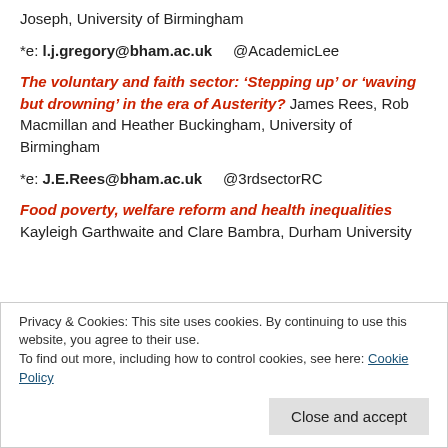Joseph, University of Birmingham
*e: l.j.gregory@bham.ac.uk    @AcademicLee
The voluntary and faith sector: ‘Stepping up’ or ‘waving but drowning’ in the era of Austerity? James Rees, Rob Macmillan and Heather Buckingham, University of Birmingham
*e: J.E.Rees@bham.ac.uk    @3rdsectorRC
Food poverty, welfare reform and health inequalities Kayleigh Garthwaite and Clare Bambra, Durham University
Privacy & Cookies: This site uses cookies. By continuing to use this website, you agree to their use.
To find out more, including how to control cookies, see here: Cookie Policy